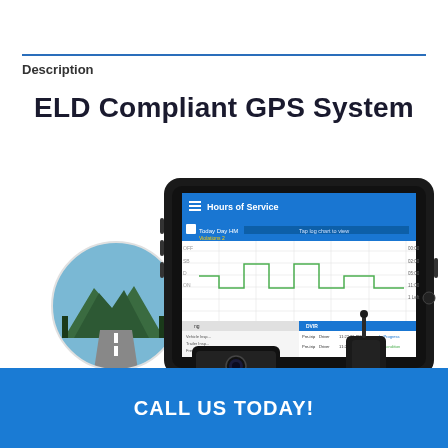Description
ELD Compliant GPS System
[Figure (photo): ELD Compliant GPS System product image showing a ruggedized tablet with Hours of Service software displayed on screen, a dashcam device, a wireless antenna/transmitter, and a circular inset photo of a highway road through a forested mountain area.]
CALL US TODAY!